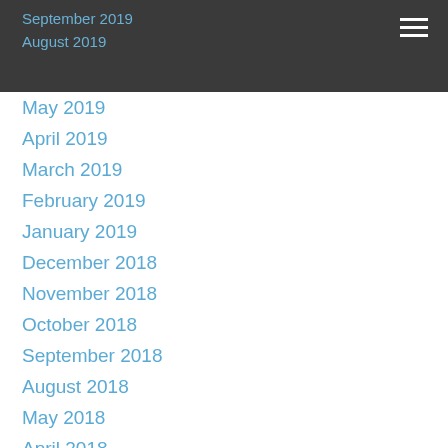September 2019
August 2019
May 2019
April 2019
March 2019
February 2019
January 2019
December 2018
November 2018
October 2018
September 2018
August 2018
May 2018
April 2018
March 2018
February 2018
January 2018
December 2017
November 2017